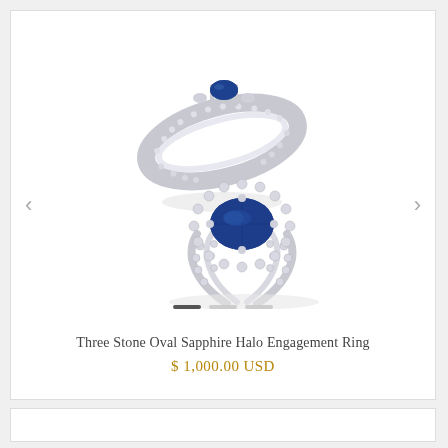[Figure (photo): Two sapphire and diamond engagement rings shown from different angles: one showing the side profile with filigree band detail and blue sapphire at top, another showing the front view with a large oval blue sapphire center stone surrounded by a halo of diamonds on a split shank band.]
Three Stone Oval Sapphire Halo Engagement Ring
$ 1,000.00 USD